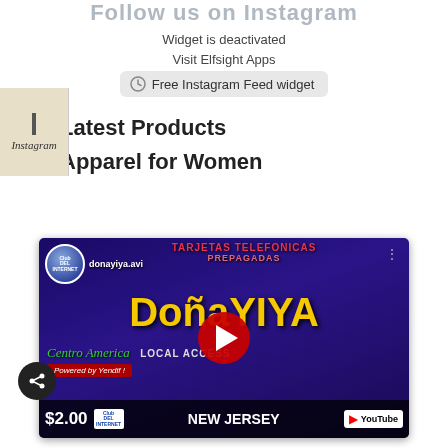Follow us on Instagram
Widget is deactivated
Visit Elfsight Apps
[Figure (screenshot): Instagram badge on left side with dark line and cursive Instagram label]
Free Instagram Feed widget
Latest Products
Apparel for Women
[Figure (screenshot): YouTube video thumbnail for donayiya.avi showing DoñaYIYA Centro America Local Access $2.00 NEW JERSEY with YouTube play button overlay]